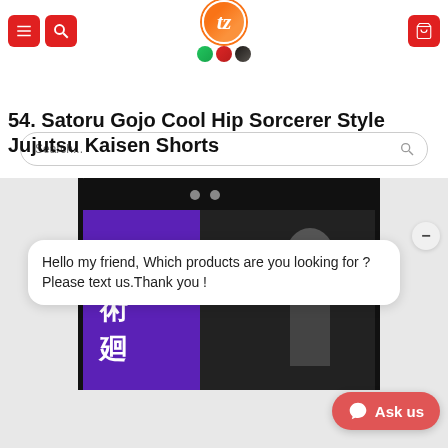[Figure (screenshot): E-commerce website header with red menu and search icon buttons on the left, centered orange circular logo with 'tz' text and three badge icons below, red cart button on the right]
[Figure (screenshot): Search bar with placeholder text 'Search...' and magnifying glass icon]
54. Satoru Gojo Cool Hip Sorcerer Style Jujutsu Kaisen Shorts
[Figure (photo): Product photo of black Jujutsu Kaisen anime shorts with purple panel and Japanese kanji characters, with a white chat bubble overlay saying 'Hello my friend, Which products are you looking for ? Please text us.Thank you !' and an 'Ask us' button in the bottom right corner]